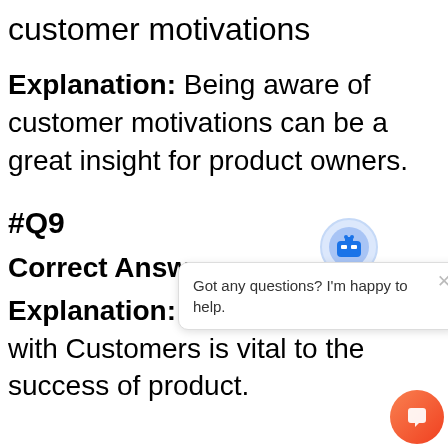customer motivations
Explanation: Being aware of customer motivations can be a great insight for product owners.
#Q9
Correct Answer:
Explanation: Communication with Customers is vital to the success of product.
[Figure (screenshot): Chat widget overlay showing a bot icon, a close (x) button, a speech bubble with text 'Got any questions? I'm happy to help.', and an orange circular chat button at the bottom right.]